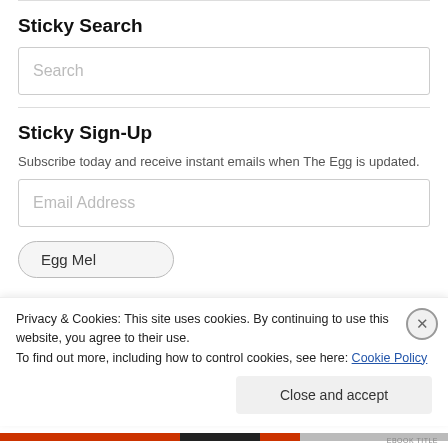Sticky Search
[Figure (other): Search input box with placeholder text 'Search']
Sticky Sign-Up
Subscribe today and receive instant emails when The Egg is updated.
[Figure (other): Email Address input box]
[Figure (other): Button labeled 'Egg Mel']
Privacy & Cookies: This site uses cookies. By continuing to use this website, you agree to their use.
To find out more, including how to control cookies, see here: Cookie Policy
[Figure (other): Close and accept button for cookie banner]